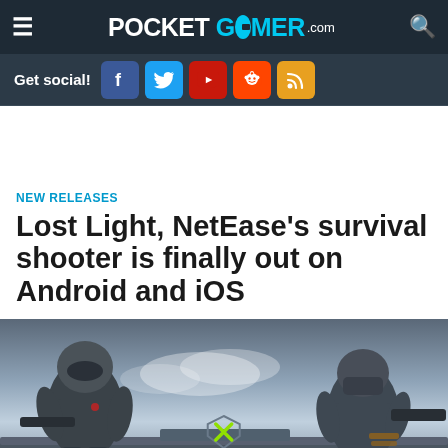POCKET GAMER.com
Get social!
NEW RELEASES
Lost Light, NetEase's survival shooter is finally out on Android and iOS
[Figure (photo): Game promo image for Lost Light showing two armored soldiers in a post-apocalyptic environment with the Lost Light game logo at the bottom center]